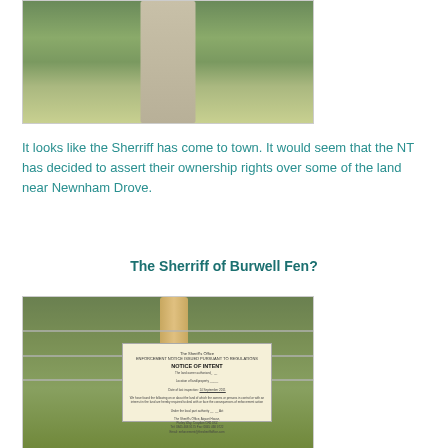[Figure (photo): A rural path or track stretching into the distance, bordered by green grass on both sides, taken from ground level looking ahead.]
It looks like the Sherriff has come to town. It would seem that the NT has decided to assert their ownership rights over some of the land near Newnham Drove.
The Sherriff of Burwell Fen?
[Figure (photo): A fence with barbed wire and a wooden post. Attached to the fence is a notice reading 'NOTICE OF INTENT' from the Sheriff's Office, with details about enforcement action near Burwell Fen.]